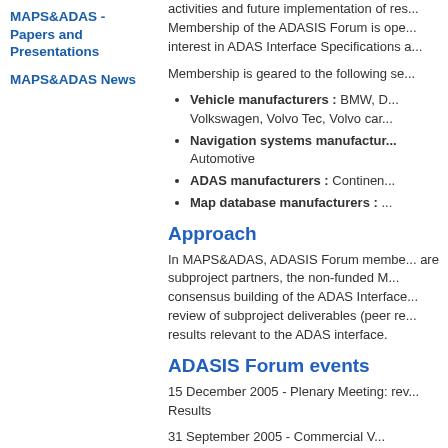MAPS&ADAS - Papers and Presentations
MAPS&ADAS News
activities and future implementation of re... Membership of the ADASIS Forum is ope... interest in ADAS Interface Specifications a...
Membership is geared to the following se...
Vehicle manufacturers : BMW, D... Volkswagen, Volvo Tec, Volvo car...
Navigation systems manufactur... Automotive
ADAS manufacturers : Continen...
Map database manufacturers : ...
Approach
In MAPS&ADAS, ADASIS Forum membe... are subproject partners, the non-funded M... consensus building of the ADAS Interface... review of subproject deliverables (peer re... results relevant to the ADAS interface.
ADASIS Forum events
15 December 2005 - Plenary Meeting: rev... Results
31 September 2005 - Commercial V...